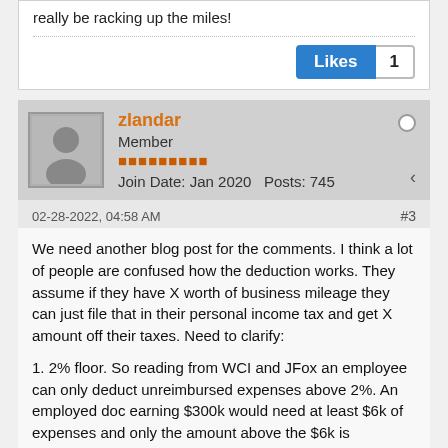really be racking up the miles!
Likes 1
zlandar
Member
Join Date: Jan 2020  Posts: 745
02-28-2022, 04:58 AM  #3
We need another blog post for the comments. I think a lot of people are confused how the deduction works. They assume if they have X worth of business mileage they can just file that in their personal income tax and get X amount off their taxes. Need to clarify:

1. 2% floor. So reading from WCI and JFox an employee can only deduct unreimbursed expenses above 2%. An employed doc earning $300k would need at least $6k of expenses and only the amount above the $6k is deductible. Same doc with $8k business mileage could only claim $2k ($8k - $6k= $2k). This alone would make business mileage worthless to most